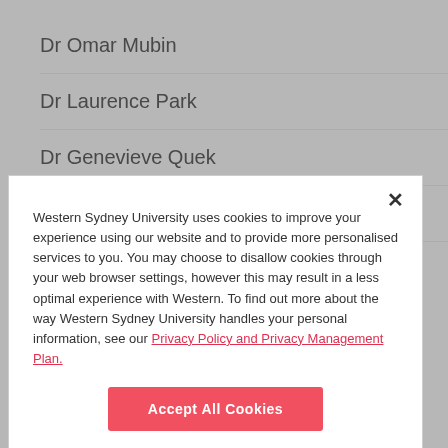Dr Omar Mubin
Dr Laurence Park
Dr Genevieve Quek
Dr Madeleine Radnan
Dr Pl...
Western Sydney University uses cookies to improve your experience using our website and to provide more personalised services to you. You may choose to disallow cookies through your web browser settings, however this may result in a less optimal experience with Western. To find out more about the way Western Sydney University handles your personal information, see our Privacy Policy and Privacy Management Plan.
Accept All Cookies